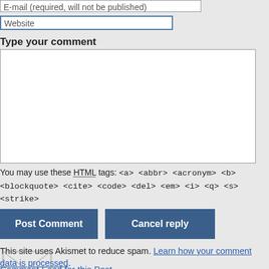E-mail (required, will not be published)
Website
Type your comment
You may use these HTML tags: <a> <abbr> <acronym> <b> <blockquote> <cite> <code> <del> <em> <i> <q> <s> <strike> <strong>
Post Comment
Cancel reply
This site uses Akismet to reduce spam. Learn how your comment data is processed.
Comment Feed for this Post